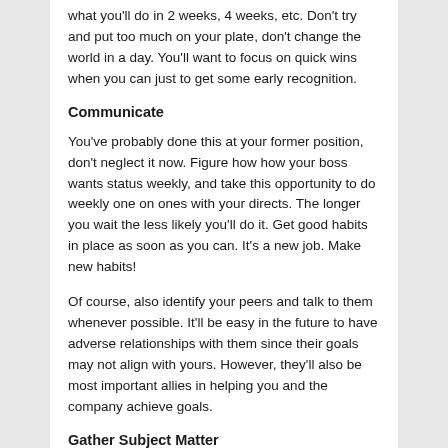what you'll do in 2 weeks, 4 weeks, etc. Don't try and put too much on your plate, don't change the world in a day. You'll want to focus on quick wins when you can just to get some early recognition.
Communicate
You've probably done this at your former position, don't neglect it now. Figure how how your boss wants status weekly, and take this opportunity to do weekly one on ones with your directs. The longer you wait the less likely you'll do it. Get good habits in place as soon as you can. It's a new job. Make new habits!
Of course, also identify your peers and talk to them whenever possible. It'll be easy in the future to have adverse relationships with them since their goals may not align with yours. However, they'll also be most important allies in helping you and the company achieve goals.
Gather Subject Matter